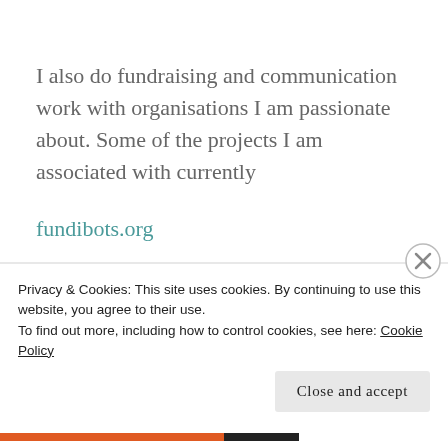I also do fundraising and communication work with organisations I am passionate about. Some of the projects I am associated with currently
fundibots.org
springstrategies.org
DMT Consultants
Privacy & Cookies: This site uses cookies. By continuing to use this website, you agree to their use.
To find out more, including how to control cookies, see here: Cookie Policy
Close and accept